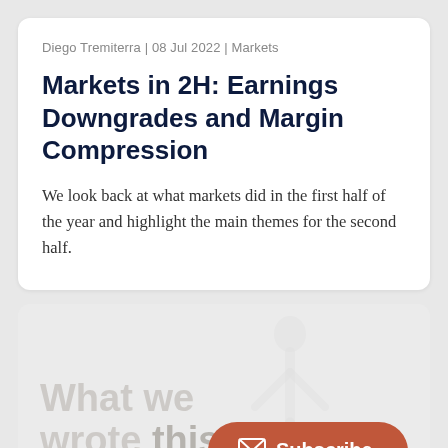Diego Tremiterra | 08 Jul 2022 | Markets
Markets in 2H: Earnings Downgrades and Margin Compression
We look back at what markets did in the first half of the year and highlight the main themes for the second half.
[Figure (illustration): Gray background panel with a faint human silhouette/figure watermark on the right side, overlaid text reading 'What we wrote this month' in light gray, and an orange-red rounded Subscribe button with an envelope icon on the right side.]